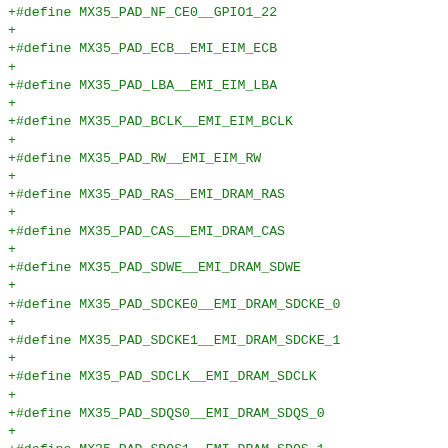+#define MX35_PAD_NF_CE0__GPIO1_22
+
+#define MX35_PAD_ECB__EMI_EIM_ECB
+
+#define MX35_PAD_LBA__EMI_EIM_LBA
+
+#define MX35_PAD_BCLK__EMI_EIM_BCLK
+
+#define MX35_PAD_RW__EMI_EIM_RW
+
+#define MX35_PAD_RAS__EMI_DRAM_RAS
+
+#define MX35_PAD_CAS__EMI_DRAM_CAS
+
+#define MX35_PAD_SDWE__EMI_DRAM_SDWE
+
+#define MX35_PAD_SDCKE0__EMI_DRAM_SDCKE_0
+
+#define MX35_PAD_SDCKE1__EMI_DRAM_SDCKE_1
+
+#define MX35_PAD_SDCLK__EMI_DRAM_SDCLK
+
+#define MX35_PAD_SDQS0__EMI_DRAM_SDQS_0
+
+#define MX35_PAD_SDQS1__EMI_DRAM_SDQS_1
+